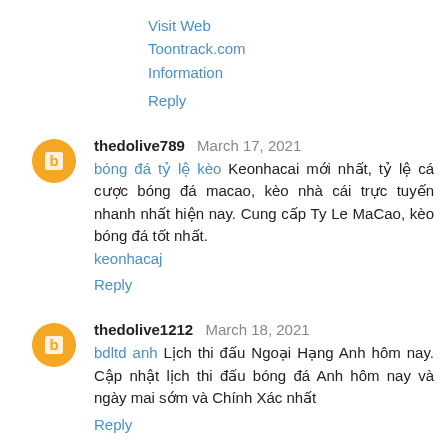Visit Web
Toontrack.com
Information
Reply
thedolive789  March 17, 2021
bóng đá tỷ lệ kèo Keonhacai mới nhất, tỷ lệ cá cược bóng đá macao, kèo nhà cái trực tuyến nhanh nhất hiện nay. Cung cấp Ty Le MaCao, kèo bóng đá tốt nhất.
keonhacaj
Reply
thedolive1212  March 18, 2021
bdltd anh Lịch thi đấu Ngoại Hạng Anh hôm nay. Cập nhật lịch thi đấu bóng đá Anh hôm nay và ngày mai sớm và Chính Xác nhất
Reply